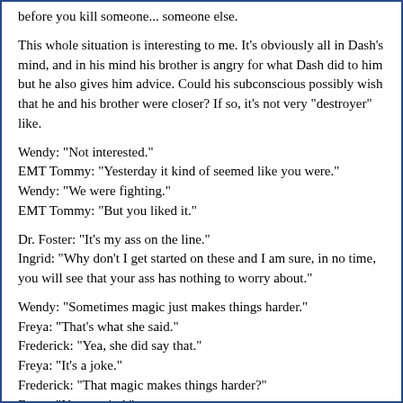before you kill someone... someone else.
This whole situation is interesting to me. It's obviously all in Dash's mind, and in his mind his brother is angry for what Dash did to him but he also gives him advice. Could his subconscious possibly wish that he and his brother were closer? If so, it's not very "destroyer" like.
Wendy: "Not interested."
EMT Tommy: "Yesterday it kind of seemed like you were."
Wendy: "We were fighting."
EMT Tommy: "But you liked it."
Dr. Foster: "It's my ass on the line."
Ingrid: "Why don't I get started on these and I am sure, in no time, you will see that your ass has nothing to worry about."
Wendy: "Sometimes magic just makes things harder."
Freya: "That's what she said."
Frederick: "Yea, she did say that."
Freya: "It's a joke."
Frederick: "That magic makes things harder?"
Freya: "Never mind."
Imagine trying to explain that one to your newly found brother.
EMT Tommy: "He was all carved up. Some voodoo looking shit."